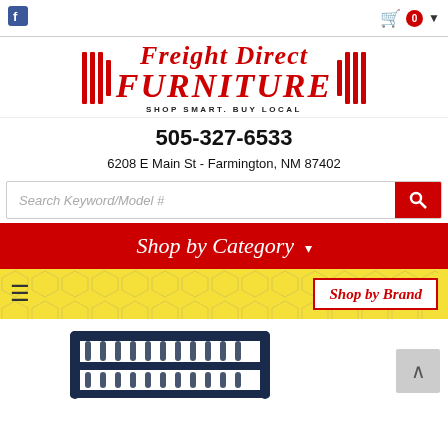Facebook icon | Cart 0 dropdown
[Figure (logo): Freight Direct Furniture logo with red vertical bars on left and right, italic bold red text 'Freight Direct FURNITURE', tagline 'SHOP SMART. BUY LOCAL']
505-327-6533
6208 E Main St - Farmington, NM 87402
Search Keyword/Model #
Shop by Category ▾
☰   Shop by Brand
[Figure (photo): Bottom portion of a dark navy blue metal bunk bed frame visible at the bottom of the page]